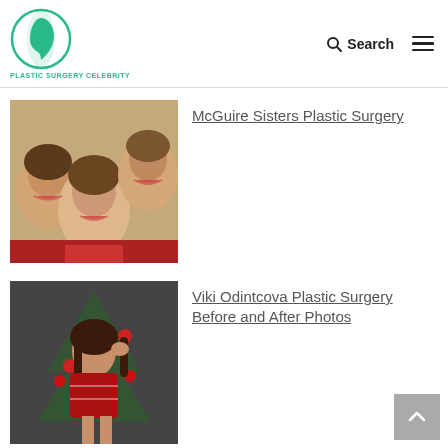PLASTIC SURGERY CELEBRITY
[Figure (photo): Three smiling women – vintage photo of the McGuire Sisters]
McGuire Sisters Plastic Surgery
[Figure (photo): Woman in red patterned sweater posing near Christmas decorations – Viki Odintcova]
Viki Odintcova Plastic Surgery Before and After Photos